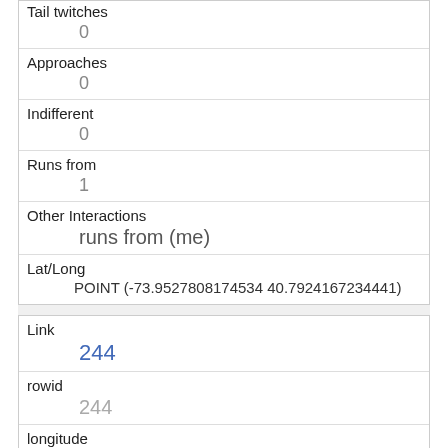| Tail twitches | 0 |
| Approaches | 0 |
| Indifferent | 0 |
| Runs from | 1 |
| Other Interactions | runs from (me) |
| Lat/Long | POINT (-73.9527808174534 40.7924167234441) |
| Link | 244 |
| rowid | 244 |
| longitude | -73.9597648775789 |
| latitude |  |